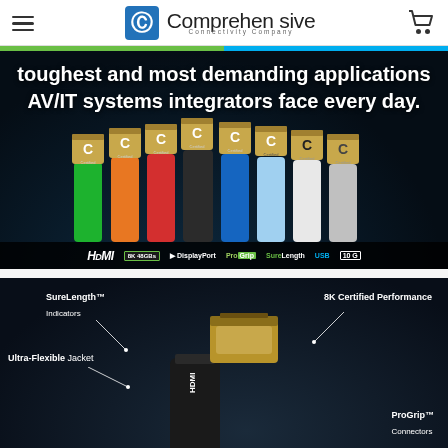Comprehensive Connectivity Company
[Figure (photo): Hero banner on dark background showing colorful HDMI cables (green, orange, red, black, blue, light blue, white, silver) with golden connectors arranged in a fan. Text overlay reads: 'toughest and most demanding applications AV/IT systems integrators face every day.' Bottom bar shows brand logos: HDMI, 8K 48GBs, DisplayPort, ProGrip, SureLength, USB, 10G.]
[Figure (photo): Product detail image on dark background showing an HDMI cable with annotations: SureLength Indicators, 8K Certified Performance, Ultra-Flexible Jacket, ProGrip Connectors. Cable has a black flexible body with gold connector.]